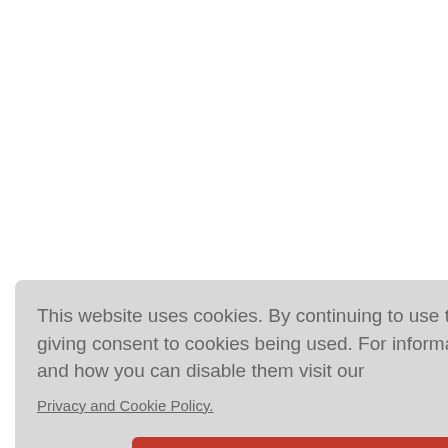to us that the issue is still highly controversial. In a follow-up study on the hearing of pop and rock musicians, Axe et al (1995) found, surprisingly, that even after performing for 26 years their hearing was wellpreserved. He had no explanation for the tolerance of the musicians to the sound levels they experienced and thought that there might be some protective effect generated by the positive attitude of the musicians toward their performances. harmful th
b of our xposure o of the ca n one day. cases the We confirm tudy where rcier et al 1998). Struwe et al (1996) also reporte
This website uses cookies. By continuing to use this website you are giving consent to cookies being used. For information on cookies and how you can disable them visit our Privacy and Cookie Policy. AGREE & PROCEED